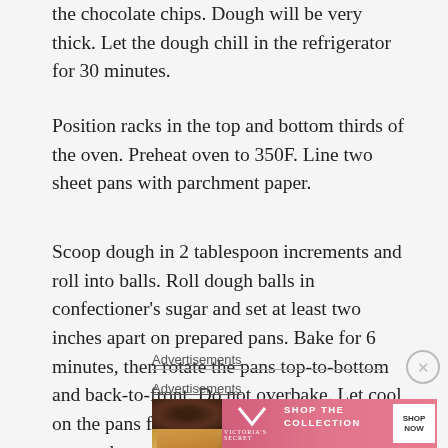the chocolate chips. Dough will be very thick. Let the dough chill in the refrigerator for 30 minutes.
Position racks in the top and bottom thirds of the oven. Preheat oven to 350F. Line two sheet pans with parchment paper.
Scoop dough in 2 tablespoon increments and roll into balls. Roll dough balls in confectioner's sugar and set at least two inches apart on prepared pans. Bake for 6 minutes, then rotate the pans top-to-bottom and back-to-front. Do not overbake. Let cool on the pans for ten minutes before removing to a rack to cool completely. Repeat with all remaining dough.
Advertisements
[Figure (illustration): Victoria's Secret advertisement banner showing a model with curly hair on the left, Victoria's Secret logo with VS monogram in the center, text 'SHOP THE COLLECTION' and a 'SHOP NOW' button on a pink background.]